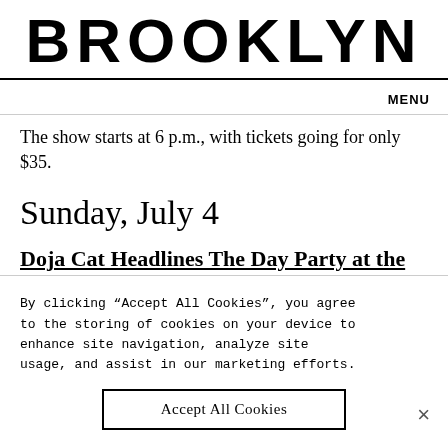BROOKLYN
MENU
The show starts at 6 p.m., with tickets going for only $35.
Sunday, July 4
Doja Cat Headlines The Day Party at the Coney Art Walls
2 to 10 p.m.
By clicking “Accept All Cookies”, you agree to the storing of cookies on your device to enhance site navigation, analyze site usage, and assist in our marketing efforts.
Accept All Cookies
×